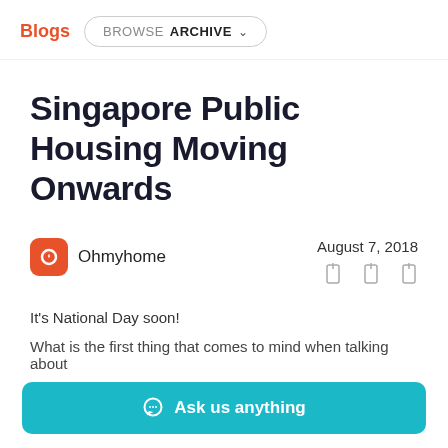Blogs | BROWSE ARCHIVE
Singapore Public Housing Moving Onwards
Ohmyhome | August 7, 2018
It's National Day soon!
What is the first thing that comes to mind when talking about
Ask us anything